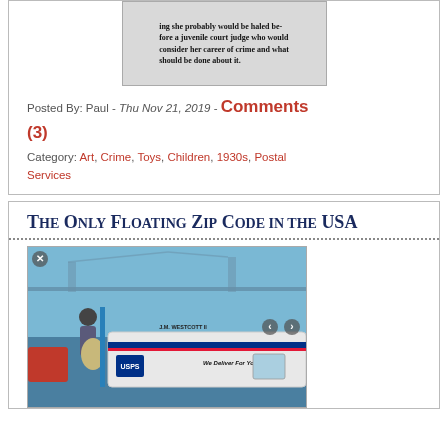[Figure (photo): Scanned newspaper clipping with bold text: 'ing she probably would be haled before a juvenile court judge who would consider her career of crime and what should be done about it.']
Posted By: Paul - Thu Nov 21, 2019 - Comments (3)
Category: Art, Crime, Toys, Children, 1930s, Postal Services
The Only Floating Zip Code in the USA
[Figure (photo): Photo of a man loading mail bags onto a USPS boat named 'J.M. Westcott II' with the text 'We Deliver For You.' visible on the boat, with a bridge in the background.]